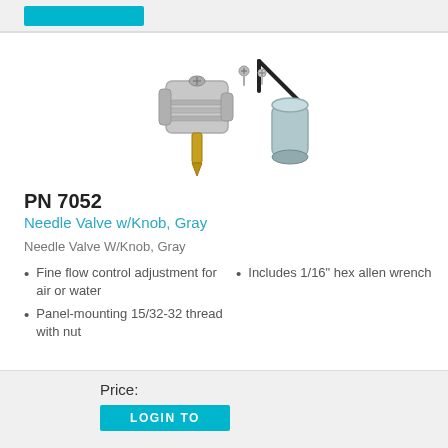[Figure (photo): Needle valve with knob (gray), showing the valve body, gold needle, two small screws, a gray cylindrical knob, and an L-shaped hex allen wrench]
PN 7052
Needle Valve w/Knob, Gray
Needle Valve W/Knob, Gray
Fine flow control adjustment for air or water
Panel-mounting 15/32-32 thread with nut
Includes 1/16" hex allen wrench
Price:
LOGIN TO